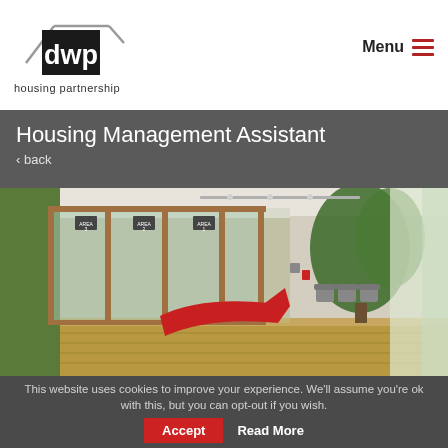[Figure (logo): DWP Housing Partnership logo with house/roof outline and 'dwp' text in black square, with 'housing partnership' text below]
Menu ☰
Housing Management Assistant
‹ back
[Figure (photo): Interior of a modern housing office with glass-partitioned meeting rooms on the left, a red curved reception desk in the center, wooden flooring, and a waiting area with chairs and plants on the right]
This website uses cookies to improve your experience. We'll assume you're ok with this, but you can opt-out if you wish.  Accept  Read More